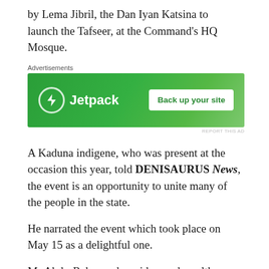by Lema Jibril, the Dan Iyan Katsina to launch the Tafseer, at the Command's HQ Mosque.
[Figure (screenshot): Jetpack advertisement banner with green background showing Jetpack logo and 'Back up your site' button]
A Kaduna indigene, who was present at the occasion this year, told DENISAURUS News, the event is an opportunity to unite many of the people in the state.
He narrated the event which took place on May 15 as a delightful one.
Mr AbdurRahman, he said, urged wealthy people living in Kaduna to assist those less priviledged than them.